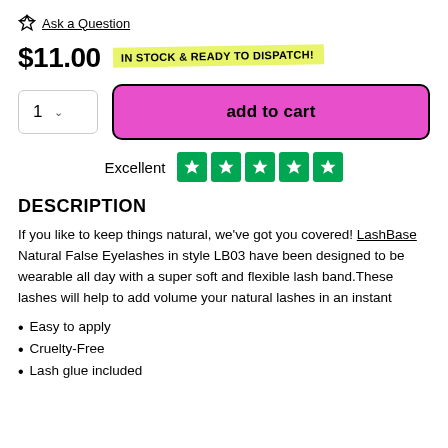Ask a Question
$11.00  IN STOCK & READY TO DISPATCH!
1  add to cart
Excellent ★★★★★
DESCRIPTION
If you like to keep things natural, we've got you covered! LashBase Natural False Eyelashes in style LB03 have been designed to be wearable all day with a super soft and flexible lash band. These lashes will help to add volume your natural lashes in an instant
Easy to apply
Cruelty-Free
Lash glue included